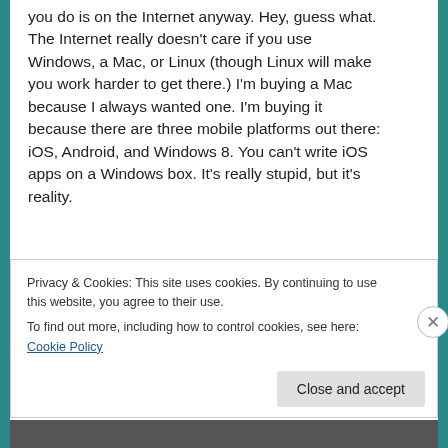you do is on the Internet anyway. Hey, guess what. The Internet really doesn't care if you use Windows, a Mac, or Linux (though Linux will make you work harder to get there.) I'm buying a Mac because I always wanted one. I'm buying it because there are three mobile platforms out there: iOS, Android, and Windows 8. You can't write iOS apps on a Windows box. It's really stupid, but it's reality.
And besides, who says I must remain loyal to
Privacy & Cookies: This site uses cookies. By continuing to use this website, you agree to their use.
To find out more, including how to control cookies, see here: Cookie Policy